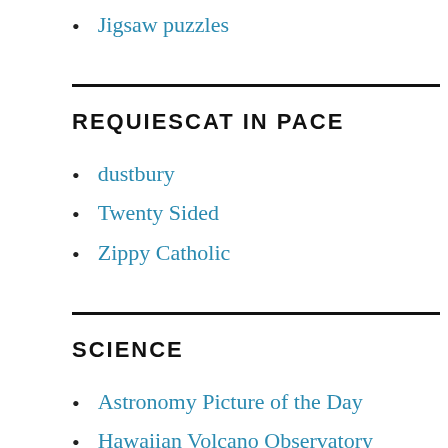Jigsaw puzzles
REQUIESCAT IN PACE
dustbury
Twenty Sided
Zippy Catholic
SCIENCE
Astronomy Picture of the Day
Hawaiian Volcano Observatory
IMA Volcano Cams